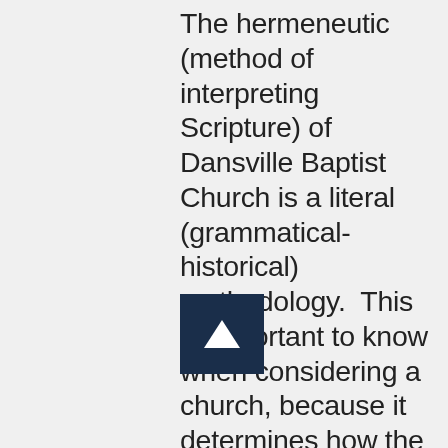The hermeneutic (method of interpreting Scripture) of Dansville Baptist Church is a literal (grammatical-historical) methodology.  This is important to know when considering a church, because it determines how the Scripture is handled.  If texts are allegorized (sometimes referenced as “spiritualized”) they can be presented as saying a variety of different things and reach a seemingly endless amount of conclusions.  This is one of the causes of so many differing perspectives and interpretations of t[...]ble.  But we do not believe t[...] are multiple interpretations of the Bible, and our goal is to